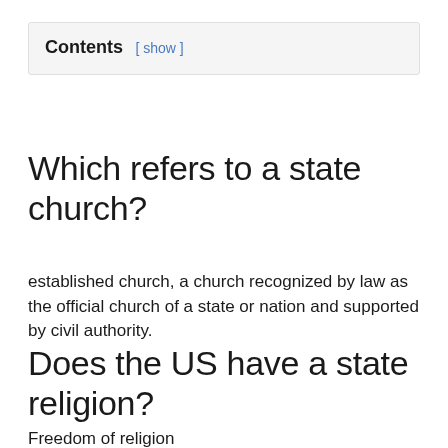Contents [ show ]
Which refers to a state church?
established church, a church recognized by law as the official church of a state or nation and supported by civil authority.
Does the US have a state religion?
Freedom of religion